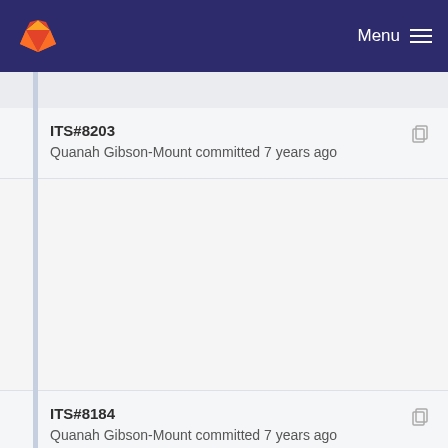Menu
ITS#8203
Quanah Gibson-Mount committed 7 years ago
ITS#8184
Quanah Gibson-Mount committed 7 years ago